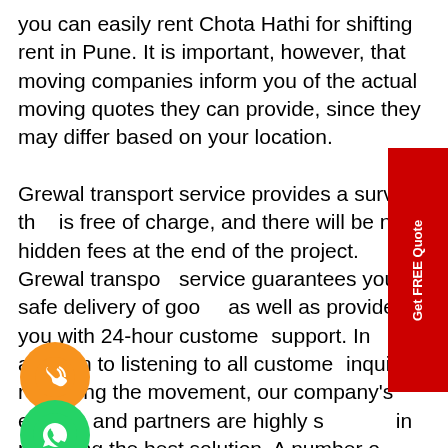you can easily rent Chota Hathi for shifting rent in Pune. It is important, however, that moving companies inform you of the actual moving quotes they can provide, since they may differ based on your location.

Grewal transport service provides a survey that is free of charge, and there will be no hidden fees at the end of the project. Grewal transport service guarantees you a safe delivery of goods as well as provides you with 24-hour customer support. In addition to listening to all customer inquiries regarding the movement, our company's experts and partners are highly skilled in providing the best solution. A number of customer service and transportation options will be available to you in order to meet your needs.

Guarantee of Safety: A concern that should be on your mind is safety. You cannot compromise on the security of your personal belongings
[Figure (other): Red vertical tab on right side reading 'Get FREE Quote']
[Figure (other): Orange circular phone/call icon]
[Figure (other): Green circular WhatsApp icon]